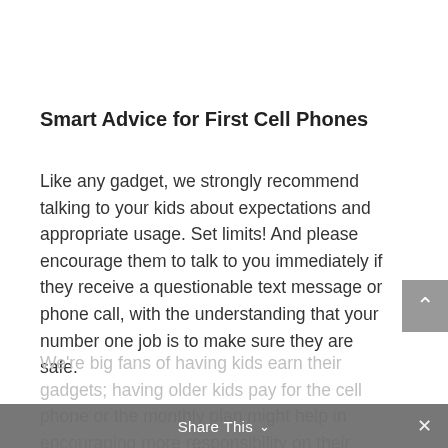Smart Advice for First Cell Phones
Like any gadget, we strongly recommend talking to your kids about expectations and appropriate usage. Set limits! And please encourage them to talk to you immediately if they receive a questionable text message or phone call, with the understanding that your number one job is to make sure they are safe.
We're big fans of having kids earn their gadgets; having older kids pay for the cell phone or the monthly plan might help in encouraging more responsibility on their part.